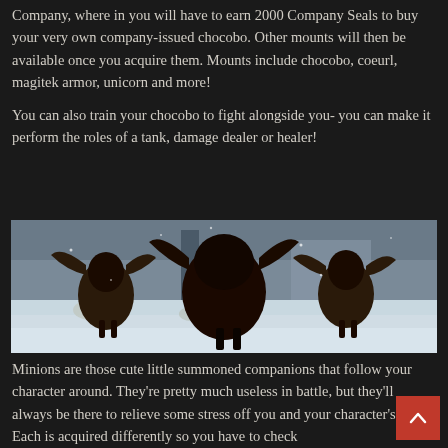Company, where in you will have to earn 2000 Company Seals to buy your very own company-issued chocobo. Other mounts will then be available once you acquire them. Mounts include chocobo, coeurl, magitek armor, unicorn and more!
You can also train your chocobo to fight alongside you- you can make it perform the roles of a tank, damage dealer or healer!
[Figure (photo): Screenshot from a video game showing three dark armored creatures (magitek-style mounts) viewed from behind in a snowy winter landscape. The creatures have large wings/appendages and dark mechanical armor. Snow covers the ground and bushes are visible in the background.]
Minions are those cute little summoned companions that follow your character around. They're pretty much useless in battle, but they'll always be there to relieve some stress off you and your character's back. Each is acquired differently so you have to check